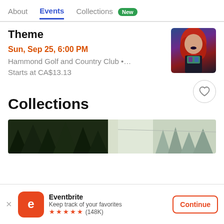About | Events | Collections New
Theme
Sun, Sep 25, 6:00 PM
Hammond Golf and Country Club •…
Starts at CA$13.13
[Figure (photo): Performer with red hair and gothic makeup]
Collections
[Figure (photo): Outdoor nature/forest landscape image]
Eventbrite
Keep track of your favorites
★★★★★ (148K) Continue